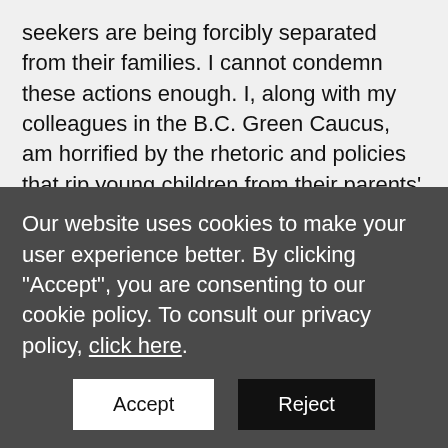seekers are being forcibly separated from their families. I cannot condemn these actions enough. I, along with my colleagues in the B.C. Green Caucus, am horrified by the rhetoric and policies that rip young children from their parents' arms with no foreseeable reunification in sight.

“Research shows that the separation of children from their parents is deeply traumatic and can
Our website uses cookies to make your user experience better. By clicking "Accept", you are consenting to our cookie policy. To consult our privacy policy, click here.